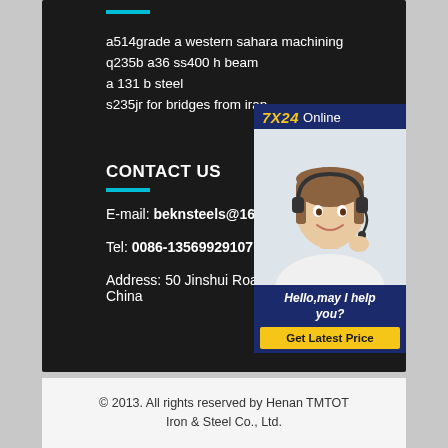a514grade a western sahara machining
q235b a36 ss400 h beam
a 131 b steel
s235jr for bridges from iran
CONTACT US
E-mail: beknsteels@163.com
Tel: 0086-13569929107
Address: 50 Jinshui Road, Henan, China
[Figure (photo): Chat widget with '7X24 Online' header, photo of a woman with headset smiling, 'Hello,may I help you?' text, and 'Get Latest Price' button]
© 2013. All rights reserved by Henan TMTOT Iron & Steel Co., Ltd.